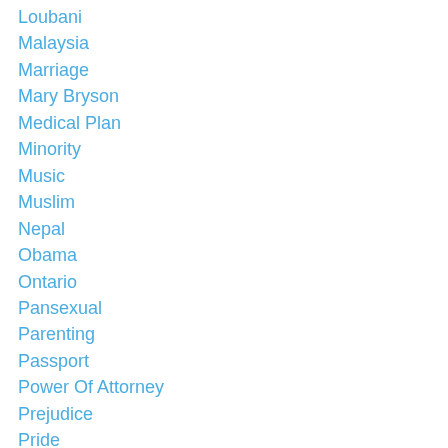Loubani
Malaysia
Marriage
Mary Bryson
Medical Plan
Minority
Music
Muslim
Nepal
Obama
Ontario
Pansexual
Parenting
Passport
Power Of Attorney
Prejudice
Pride
Prison
Property
Publication
Public Opinion